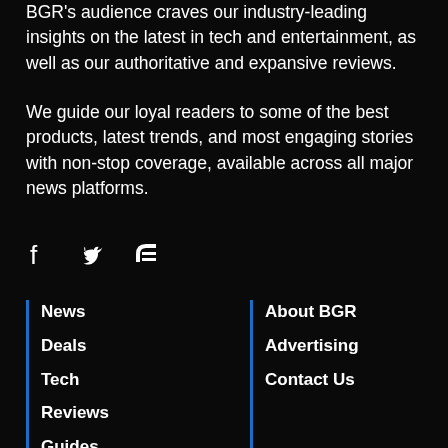BGR's audience craves our industry-leading insights on the latest in tech and entertainment, as well as our authoritative and expansive reviews.
We guide our loyal readers to some of the best products, latest trends, and most engaging stories with non-stop coverage, available across all major news platforms.
[Figure (other): Social media icons: Facebook, Twitter, RSS feed]
News
Deals
Tech
Reviews
Guides
About BGR
Advertising
Contact Us